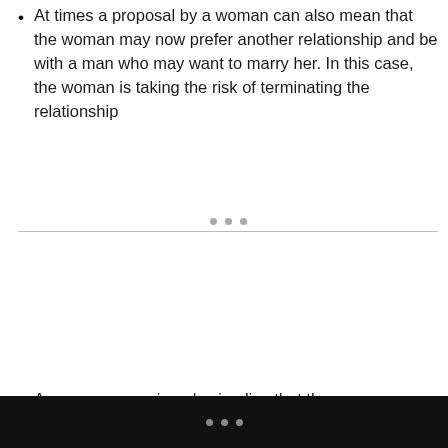At times a proposal by a woman can also mean that the woman may now prefer another relationship and be with a man who may want to marry her. In this case, the woman is taking the risk of terminating the relationship
A woman proposing also implies that the woman can